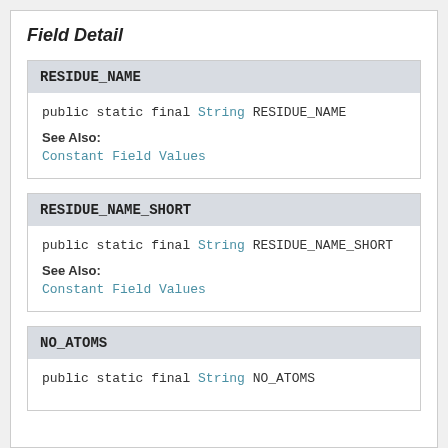Field Detail
RESIDUE_NAME
public static final String RESIDUE_NAME
See Also:
Constant Field Values
RESIDUE_NAME_SHORT
public static final String RESIDUE_NAME_SHORT
See Also:
Constant Field Values
NO_ATOMS
public static final String NO_ATOMS